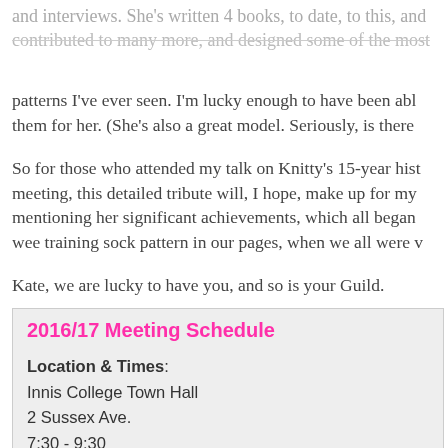and interviews. She's written 4 books, to date, to this, and contributed to many more, and designed some of the most
patterns I've ever seen. I'm lucky enough to have been able to knit them for her. (She's also a great model. Seriously, is there
So for those who attended my talk on Knitty's 15-year history at our meeting, this detailed tribute will, I hope, make up for my neglecting mentioning her significant achievements, which all began with a wee training sock pattern in our pages, when we all were v
Kate, we are lucky to have you, and so is your Guild.
2016/17 Meeting Schedule
Location & Times:
Innis College Town Hall
2 Sussex Ave.
7:30 - 9:30
Doors open 6:30 p.m. for social knitting